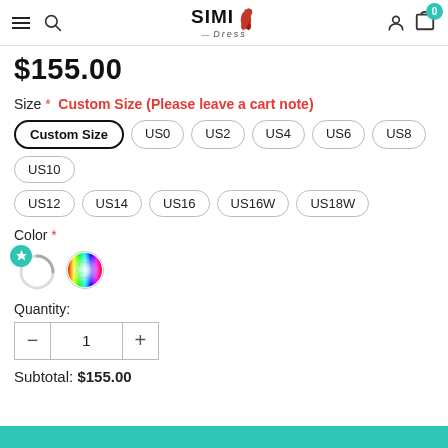SIMI Dress — navigation header with menu, search, logo, user, cart (0)
$155.00
Size * Custom Size (Please leave a cart note)
Custom Size (selected), US0, US2, US4, US6, US8, US10, US12, US14, US16, US16W, US18W
Color *
[Figure (other): Color swatches: loading spinner circle and multicolor rainbow color picker circle]
Quantity:
Quantity control: minus, 1, plus
Subtotal: $155.00